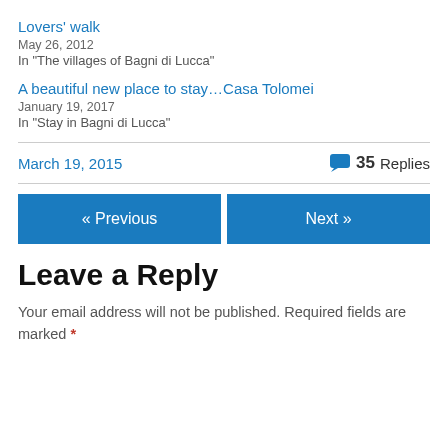Lovers' walk
May 26, 2012
In "The villages of Bagni di Lucca"
A beautiful new place to stay…Casa Tolomei
January 19, 2017
In "Stay in Bagni di Lucca"
March 19, 2015
35 Replies
« Previous
Next »
Leave a Reply
Your email address will not be published. Required fields are marked *